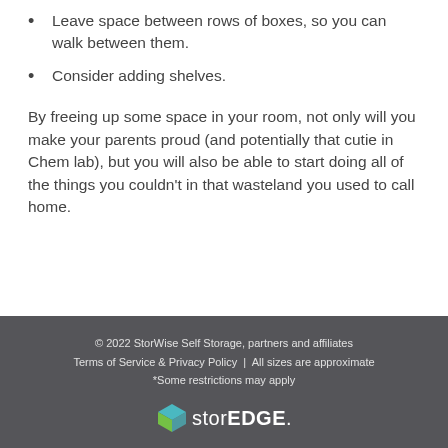Leave space between rows of boxes, so you can walk between them.
Consider adding shelves.
By freeing up some space in your room, not only will you make your parents proud (and potentially that cutie in Chem lab), but you will also be able to start doing all of the things you couldn't in that wasteland you used to call home.
© 2022 StorWise Self Storage, partners and affiliates
Terms of Service & Privacy Policy  |  All sizes are approximate
*Some restrictions may apply